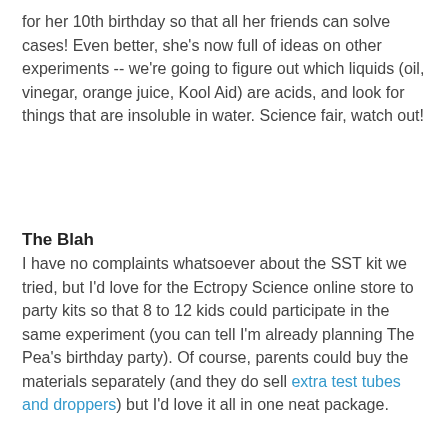for her 10th birthday so that all her friends can solve cases! Even better, she's now full of ideas on other experiments -- we're going to figure out which liquids (oil, vinegar, orange juice, Kool Aid) are acids, and look for things that are insoluble in water. Science fair, watch out!
The Blah
I have no complaints whatsoever about the SST kit we tried, but I'd love for the Ectropy Science online store to party kits so that 8 to 12 kids could participate in the same experiment (you can tell I'm already planning The Pea's birthday party). Of course, parents could buy the materials separately (and they do sell extra test tubes and droppers) but I'd love it all in one neat package.
Update 8/24/2010: I've just been informed that Ectropy Science now sells birthday party kits!
The Bottom Line
Ectropy Science's Secret Science Team kits are a fun